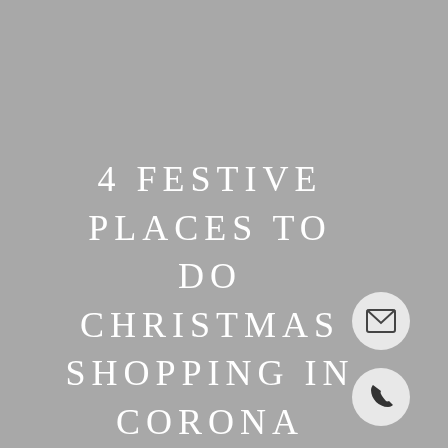4 FESTIVE PLACES TO DO CHRISTMAS SHOPPING IN CORONA DEL MAR
[Figure (illustration): Email icon — envelope symbol inside a light grey circle]
[Figure (illustration): Phone icon — telephone handset symbol inside a light grey circle]